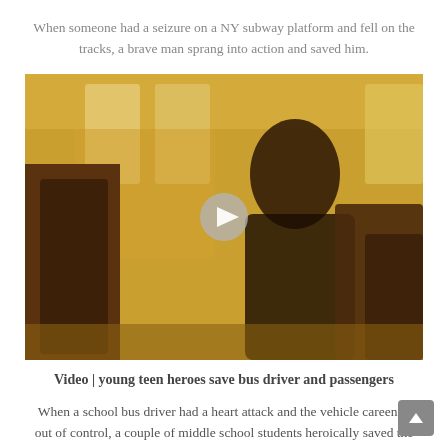When someone had a seizure on a NY subway platform and fell on the tracks, a brave man sprang into action and saved him.
[Figure (screenshot): Video thumbnail showing a young boy sitting on a school bus, with a play button overlay in the center. The bus interior is visible with yellow-toned windows and dark brown seats.]
Video | young teen heroes save bus driver and passengers
When a school bus driver had a heart attack and the vehicle careened out of control, a couple of middle school students heroically saved the day.